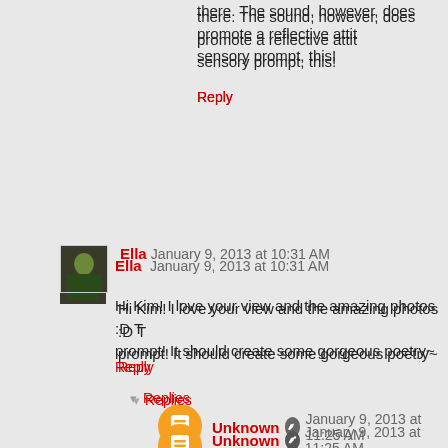there. The sound, however, does promote a reflective attic sensory prompt, this!
Reply
Ella January 9, 2013 at 10:31 AM
Hi Kim! I love your view and the amazing photos :D T prompt! It should create some gorgeous poetry~
Reply
Replies
Unknown January 9, 2013 at 11:25 AM
Hope so, Ella. Have a great and creative Wednesda
Reply
aelfbee January 9, 2013 at 12:48 PM